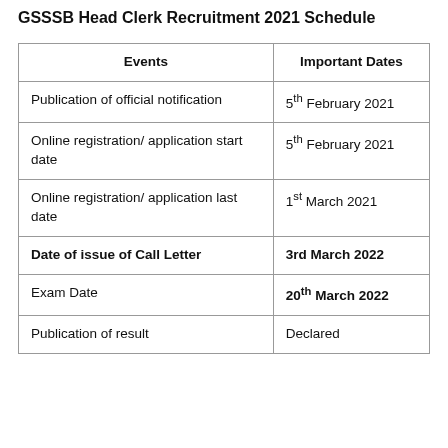GSSSB Head Clerk Recruitment 2021 Schedule
| Events | Important Dates |
| --- | --- |
| Publication of official notification | 5th February 2021 |
| Online registration/ application start date | 5th February 2021 |
| Online registration/ application last date | 1st March 2021 |
| Date of issue of Call Letter | 3rd March 2022 |
| Exam Date | 20th March 2022 |
| Publication of result | Declared |